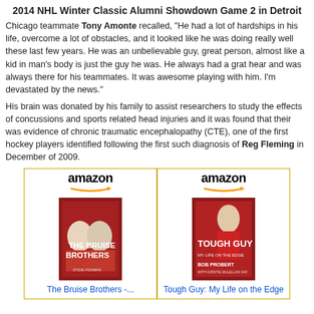2014 NHL Winter Classic Alumni Showdown Game 2 in Detroit
Chicago teammate Tony Amonte recalled, "He had a lot of hardships in his life, overcome a lot of obstacles, and it looked like he was doing really well these last few years. He was an unbelievable guy, great person, almost like a kid in man's body is just the guy he was. He always had a grat hear and was always there for his teammates. It was awesome playing with him. I'm devastated by the news."
His brain was donated by his family to assist researchers to study the effects of concussions and sports related head injuries and it was found that their was evidence of chronic traumatic encephalopathy (CTE), one of the first hockey players identified following the first such diagnosis of Reg Fleming in December of 2009.
[Figure (other): Two Amazon product listings side by side: 'The Bruise Brothers' book and 'Tough Guy: My Life on the Edge' book, each with an Amazon logo and book cover image.]
The Bruise Brothers -...
Tough Guy: My Life on the Edge